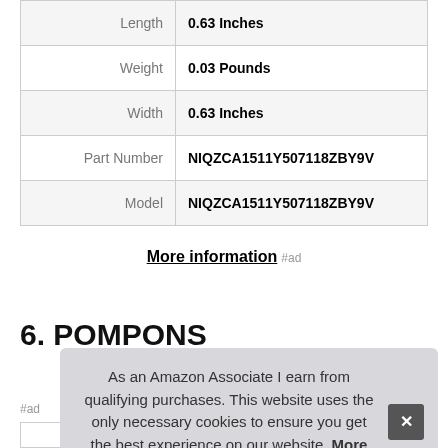| Attribute | Value |
| --- | --- |
| Length | 0.63 Inches |
| Weight | 0.03 Pounds |
| Width | 0.63 Inches |
| Part Number | NIQZCA1511Y507118ZBY9V |
| Model | NIQZCA1511Y507118ZBY9V |
More information #ad
6. POMPONS
#ad
As an Amazon Associate I earn from qualifying purchases. This website uses the only necessary cookies to ensure you get the best experience on our website. More information